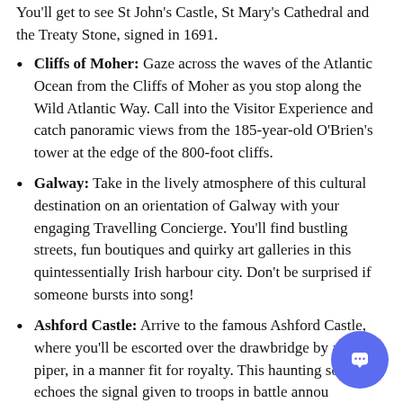You'll get to see St John's Castle, St Mary's Cathedral and the Treaty Stone, signed in 1691.
Cliffs of Moher: Gaze across the waves of the Atlantic Ocean from the Cliffs of Moher as you stop along the Wild Atlantic Way. Call into the Visitor Experience and catch panoramic views from the 185-year-old O'Brien's tower at the edge of the 800-foot cliffs.
Galway: Take in the lively atmosphere of this cultural destination on an orientation of Galway with your engaging Travelling Concierge. You'll find bustling streets, fun boutiques and quirky art galleries in this quintessentially Irish harbour city. Don't be surprised if someone bursts into song!
Ashford Castle: Arrive to the famous Ashford Castle, where you'll be escorted over the drawbridge by a lone piper, in a manner fit for royalty. This haunting sound echoes the signal given to troops in battle announcing the end of the day.
Ashford Castle: Take part in a unique falconry experience